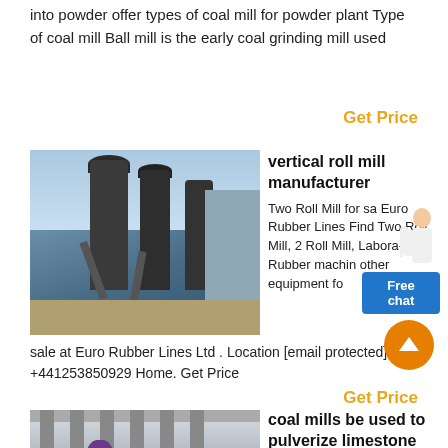into powder offer types of coal mill for powder plant Type of coal mill Ball mill is the early coal grinding mill used
Get Price
[Figure (photo): Industrial vertical roll mill / grinding facility with large silos, pipes, and conveyor equipment against a blue sky]
vertical roll mill manufacturer
Two Roll Mill for sale Euro Rubber Lines Find Two Roll Mill, 2 Roll Mill, Laboratory Rubber machinery other equipment for sale at Euro Rubber Lines Ltd . Location [email protected] +441253850929 Home. Get Price
Get Price
[Figure (photo): Interior of industrial building with columns and a large purple/green vessel or equipment on the ground floor]
coal mills be used to pulverize limestone